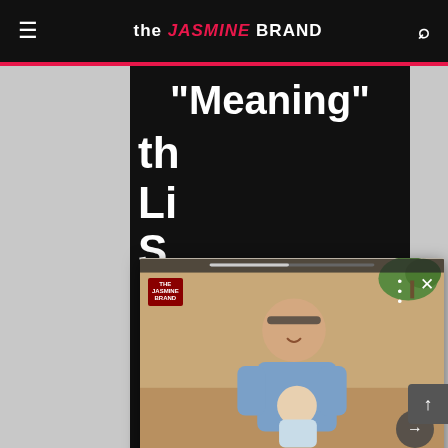the JASMINE BRAND
"Meaning"
th
Li
S
[Figure (screenshot): Popup card showing a woman (Meghan Markle) holding a baby, with the Jasmine Brand logo overlay, close button, navigation arrows, and a white text card below the image.]
Meghan Markle Reflects On The Time Royal Duties Once Forced Her To Leave 4-Month-Old So...